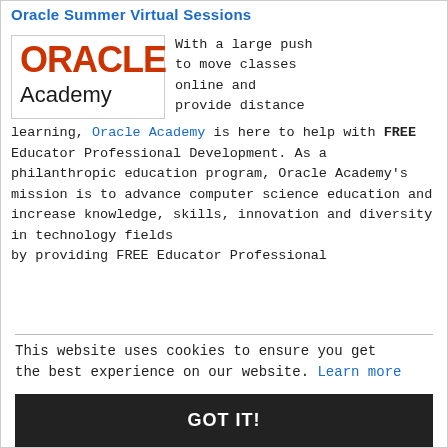Oracle Summer Virtual Sessions
[Figure (logo): Oracle Academy logo with red ORACLE text and black Academy text]
With a large push to move classes online and provide distance learning, Oracle Academy is here to help with FREE Educator Professional Development. As a philanthropic education program, Oracle Academy's mission is to advance computer science education and increase knowledge, skills, innovation and diversity in technology fields by providing FREE Educator Professional
This website uses cookies to ensure you get the best experience on our website. Learn more
GOT IT!